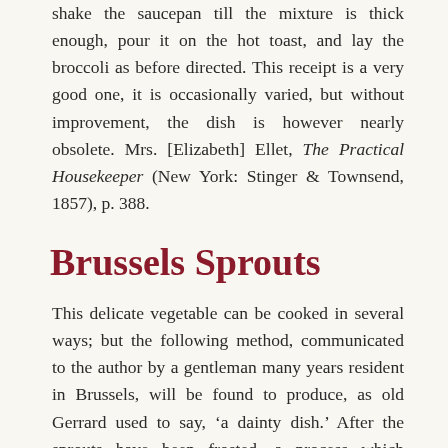shake the saucepan till the mixture is thick enough, pour it on the hot toast, and lay the broccoli as before directed. This receipt is a very good one, it is occasionally varied, but without improvement, the dish is however nearly obsolete. Mrs. [Elizabeth] Ellet, The Practical Housekeeper (New York: Stinger & Townsend, 1857), p. 388.
Brussels Sprouts
This delicate vegetable can be cooked in several ways; but the following method, communicated to the author by a gentleman many years resident in Brussels, will be found to produce, as old Gerrard used to say, ‘a dainty dish.’ After the sprouts have been frosted, a process which renders them more tender and sweet, they may be gathered; (the more